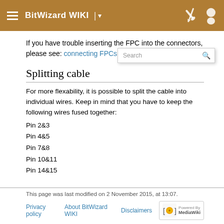BitWizard WIKI
If you have trouble inserting the FPC into the connectors, please see: connecting FPCs.
Splitting cable
For more flexability, it is possible to split the cable into individual wires. Keep in mind that you have to keep the following wires fused together:
Pin 2&3
Pin 4&5
Pin 7&8
Pin 10&11
Pin 14&15
This page was last modified on 2 November 2015, at 13:07.
Privacy policy  About BitWizard WIKI  Disclaimers